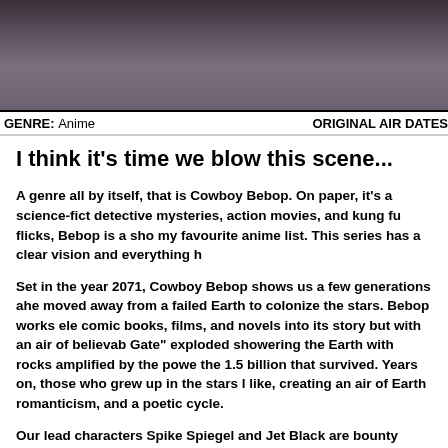[Figure (photo): Dark anime screenshot showing characters, dark tones of grey, purple and brown]
GENRE: Anime   ORIGINAL AIR DATES
I think it's time we blow this scene...
A genre all by itself, that is Cowboy Bebop. On paper, it's a science-fict detective mysteries, action movies, and kung fu flicks, Bebop is a sho my favourite anime list. This series has a clear vision and everything h
Set in the year 2071, Cowboy Bebop shows us a few generations ahe moved away from a failed Earth to colonize the stars. Bebop works ele comic books, films, and novels into its story but with an air of believab Gate" exploded showering the Earth with rocks amplified by the powe the 1.5 billion that survived. Years on, those who grew up in the stars l like, creating an air of Earth romanticism, and a poetic cycle.
Our lead characters Spike Spiegel and Jet Black are bounty hunters w apprehend. To get the reward, the bounty must be captured alive and t of their targets would rather die than submit to the will of the galacti balance out each-others skills and traits. Spike is young, strong-wille near as apt in a gunfight. As they struggle their way to each meal (bel Ein the welsh corgi, voluptuous femme fatale Faye Valentine and the n Ed, Ed prefers Ed.
The majority of episodes are self-contained but there is an overall con